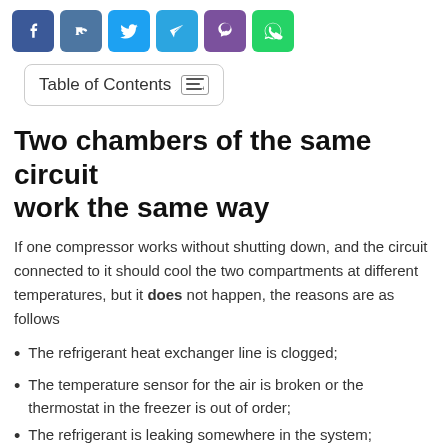[Figure (infographic): Row of six social media share buttons: Facebook (dark blue), VK (steel blue), Twitter (light blue), Telegram (sky blue), Viber (purple), WhatsApp (green)]
Table of Contents
Two chambers of the same circuit work the same way
If one compressor works without shutting down, and the circuit connected to it should cool the two compartments at different temperatures, but it does not happen, the reasons are as follows
The refrigerant heat exchanger line is clogged;
The temperature sensor for the air is broken or the thermostat in the freezer is out of order;
The refrigerant is leaking somewhere in the system;
Ice outside freezes or there is sediment on the inside walls of the evaporator.